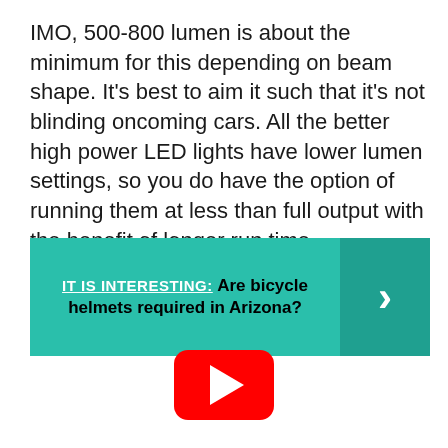IMO, 500-800 lumen is about the minimum for this depending on beam shape. It's best to aim it such that it's not blinding oncoming cars. All the better high power LED lights have lower lumen settings, so you do have the option of running them at less than full output with the benefit of longer run time.
[Figure (infographic): Teal/green callout box with white text 'IT IS INTERESTING:' (underlined) and bold black text 'Are bicycle helmets required in Arizona?' with a right-pointing chevron arrow on a darker teal background on the right side.]
[Figure (other): YouTube play button icon — red rounded rectangle with a white triangle play arrow.]